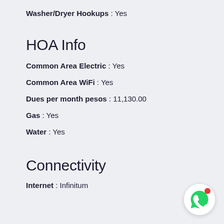Washer/Dryer Hookups : Yes
HOA Info
Common Area Electric : Yes
Common Area WiFi : Yes
Dues per month pesos : 11,130.00
Gas : Yes
Water : Yes
Connectivity
Internet : Infinitum
[Figure (logo): WhatsApp logo button with red notification dot]